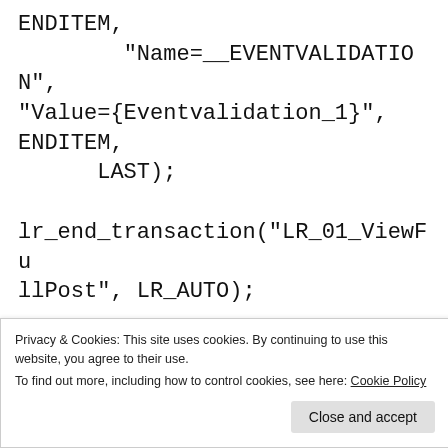ENDITEM,
        "Name=__EVENTVALIDATION",
"Value={Eventvalidation_1}",
ENDITEM,
      LAST);

lr_end_transaction("LR_01_ViewFullPost", LR_AUTO);

lr_think_time(lr_eval_string({pThinkTime}));
}
Privacy & Cookies: This site uses cookies. By continuing to use this website, you agree to their use.
To find out more, including how to control cookies, see here: Cookie Policy
Close and accept